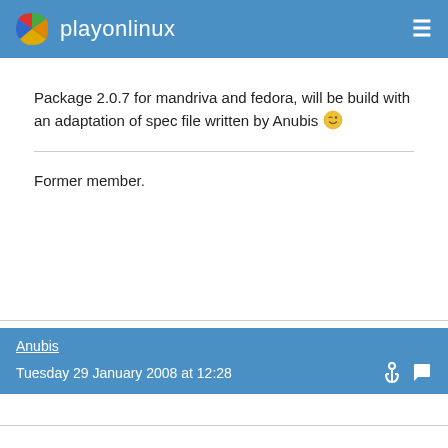playonlinux
Package 2.0.7 for mandriva and fedora, will be build with an adaptation of spec file written by Anubis 😉
Former member.
Anubis
Tuesday 29 January 2008 at 12:28